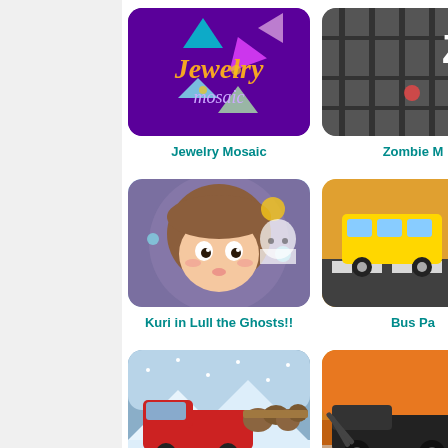[Figure (screenshot): Game listing page showing game thumbnails and titles in a grid layout. Games shown: Jewelry Mosaic, Zombie M (partial), Kuri in Lull the Ghosts!!, Bus Pa (partial), Truck Driver: Snowy R..., 18 Wheel (partial), and two partial bottom thumbnails.]
Jewelry Mosaic
Zombie M
Kuri in Lull the Ghosts!!
Bus Pa
Truck Driver: Snowy R...
18 Wheel